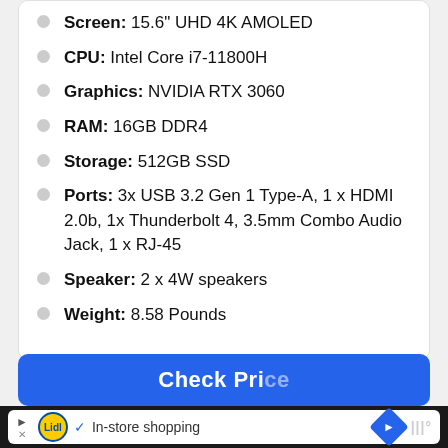Screen: 15.6" UHD 4K AMOLED
CPU: Intel Core i7-11800H
Graphics: NVIDIA RTX 3060
RAM: 16GB DDR4
Storage: 512GB SSD
Ports: 3x USB 3.2 Gen 1 Type-A, 1 x HDMI 2.0b, 1x Thunderbolt 4, 3.5mm Combo Audio Jack, 1 x RJ-45
Speaker: 2 x 4W speakers
Weight: 8.58 Pounds
Check Price (button, partially visible)
In-store shopping (advertisement)